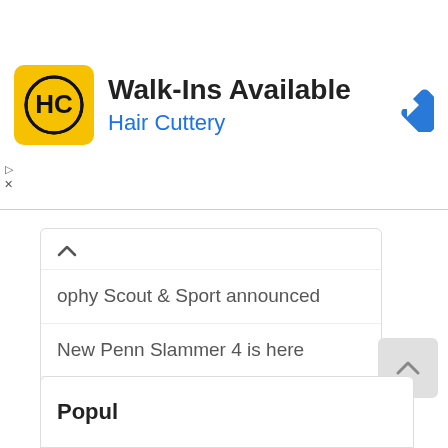[Figure (infographic): Hair Cuttery advertisement banner with yellow HC logo, text 'Walk-Ins Available' and 'Hair Cuttery' in blue, and a blue navigation diamond icon on the right]
ophy Scout & Sport announced
New Penn Slammer 4 is here
Daiwa Bait Junkie New colours and sizes
Popular